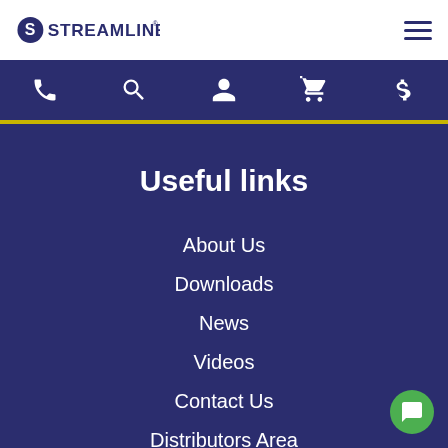STREAMLINE
[Figure (screenshot): Navy icon bar with phone, search, person, cart, and dollar sign icons]
Useful links
About Us
Downloads
News
Videos
Contact Us
Distributors Area